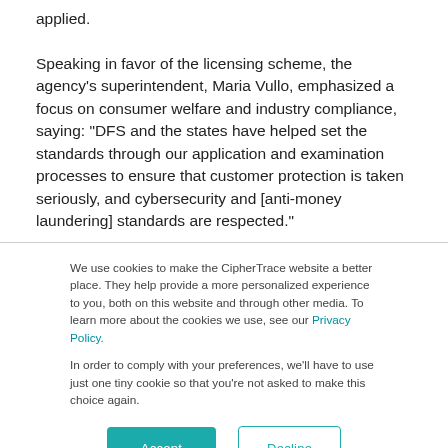applied.

Speaking in favor of the licensing scheme, the agency's superintendent, Maria Vullo, emphasized a focus on consumer welfare and industry compliance, saying: “DFS and the states have helped set the standards through our application and examination processes to ensure that customer protection is taken seriously, and cybersecurity and [anti-money laundering] standards are respected.”
We use cookies to make the CipherTrace website a better place. They help provide a more personalized experience to you, both on this website and through other media. To learn more about the cookies we use, see our Privacy Policy.

In order to comply with your preferences, we’ll have to use just one tiny cookie so that you’re not asked to make this choice again.